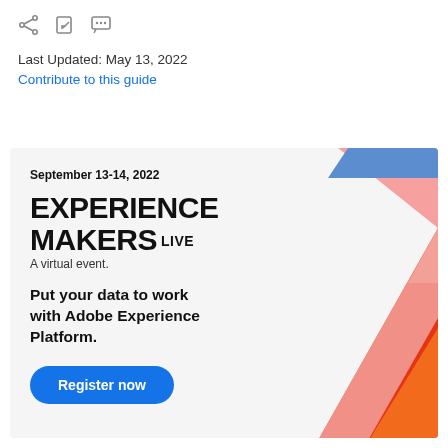[Figure (other): Toolbar icons: share, edit, comment]
Last Updated: May 13, 2022
Contribute to this guide
[Figure (infographic): Experience Makers Live advertisement banner. September 13-14, 2022. EXPERIENCE MAKERS LIVE. A virtual event. Put your data to work with Adobe Experience Platform. Register now button. Right side has colorful geometric graphic with red, orange, pink, blue triangular shapes.]